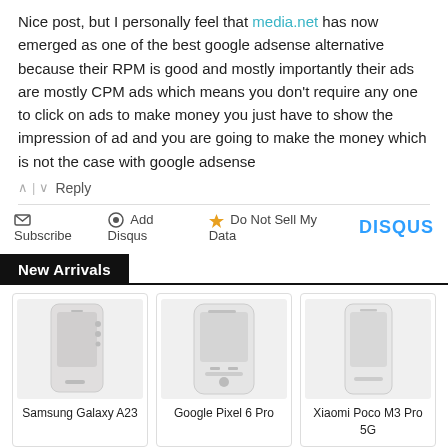Nice post, but I personally feel that media.net has now emerged as one of the best google adsense alternative because their RPM is good and mostly importantly their ads are mostly CPM ads which means you don't require any one to click on ads to make money you just have to show the impression of ad and you are going to make the money which is not the case with google adsense
^ | v  Reply
Subscribe  Add Disqus  Do Not Sell My Data  DISQUS
New Arrivals
[Figure (photo): Samsung Galaxy A23 smartphone product image]
Samsung Galaxy A23
[Figure (photo): Google Pixel 6 Pro smartphone product image]
Google Pixel 6 Pro
[Figure (photo): Xiaomi Poco M3 Pro 5G smartphone product image]
Xiaomi Poco M3 Pro 5G